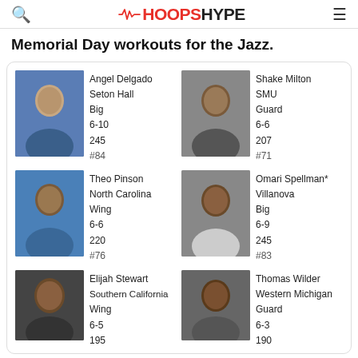HOOPSHYPE
Memorial Day workouts for the Jazz.
[Figure (photo): Angel Delgado headshot, Seton Hall basketball]
Angel Delgado
Seton Hall
Big
6-10
245
#84
[Figure (photo): Shake Milton headshot, SMU basketball]
Shake Milton
SMU
Guard
6-6
207
#71
[Figure (photo): Theo Pinson headshot, North Carolina basketball]
Theo Pinson
North Carolina
Wing
6-6
220
#76
[Figure (photo): Omari Spellman headshot, Villanova basketball]
Omari Spellman*
Villanova
Big
6-9
245
#83
[Figure (photo): Elijah Stewart headshot, Southern California basketball]
Elijah Stewart
Southern California
Wing
6-5
195
[Figure (photo): Thomas Wilder headshot, Western Michigan basketball]
Thomas Wilder
Western Michigan
Guard
6-3
190